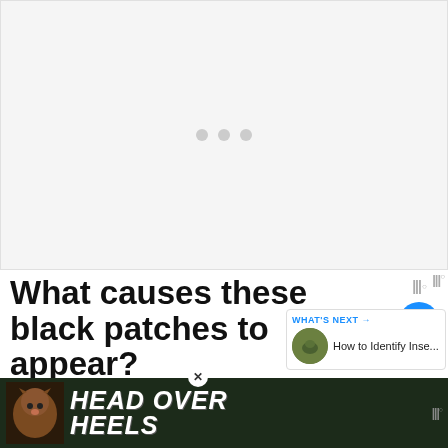[Figure (other): Gray placeholder area with three gray dots in the center, representing an ad or image loading area]
What causes these black patches to appear?
Soil nutrition issues:
[Figure (other): Bottom advertisement banner with dark green background showing a dog and text HEAD OVER HEELS in large white italic letters]